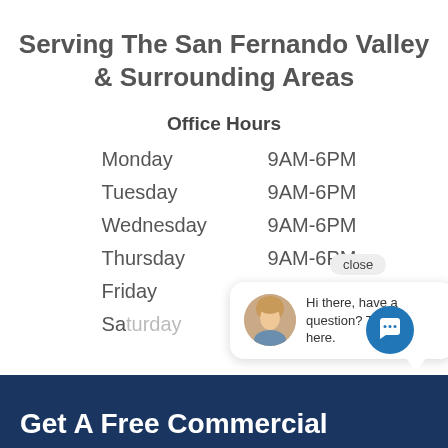Serving The San Fernando Valley & Surrounding Areas
Office Hours
| Day | Hours |
| --- | --- |
| Monday | 9AM-6PM |
| Tuesday | 9AM-6PM |
| Wednesday | 9AM-6PM |
| Thursday | 9AM-6PM |
| Friday | 9AM-6PM |
| Saturday | (partially obscured) |
[Figure (screenshot): Chat popup with avatar photo of a woman with blonde hair, close button, and text 'Hi there, have a question? Text us here.' with a speech bubble tail and chat icon button below.]
Get A Free Commercial